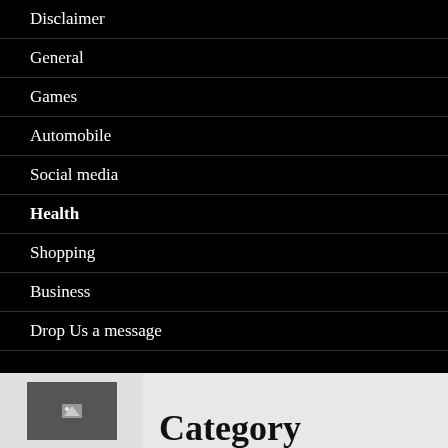Disclaimer
General
Games
Automobile
Social media
Health
Shopping
Business
Drop Us a message
Category